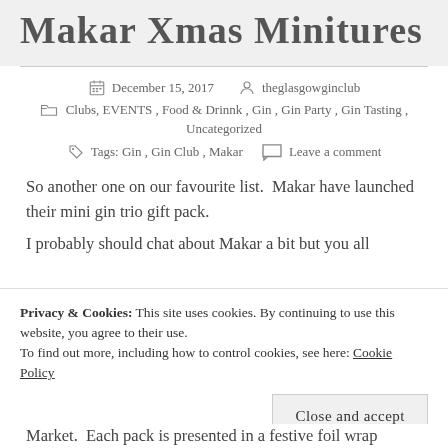Makar Xmas Minitures
December 15, 2017   theglasgowginclub
Clubs, EVENTS, Food & Drinnk, Gin, Gin Party, Gin Tasting, Uncategorized
Tags: Gin, Gin Club, Makar   Leave a comment
So another one on our favourite list.  Makar have launched their mini gin trio gift pack.
I probably should chat about Makar a bit but you all
Privacy & Cookies: This site uses cookies. By continuing to use this website, you agree to their use.
To find out more, including how to control cookies, see here: Cookie Policy
Close and accept
Market.  Each pack is presented in a festive foil wrap